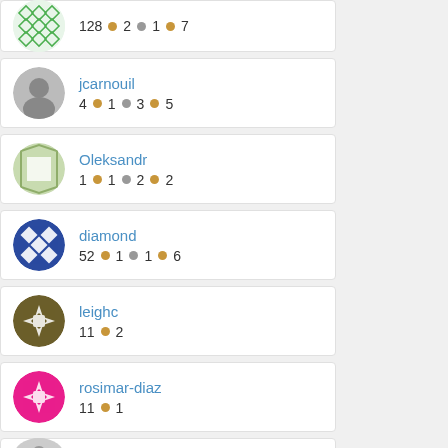128 • 2 • 1 • 7
jcarnouil 4 • 1 • 3 • 5
Oleksandr 1 • 1 • 2 • 2
diamond 52 • 1 • 1 • 6
leighc 11 • 2
rosimar-diaz 11 • 1
wildebus